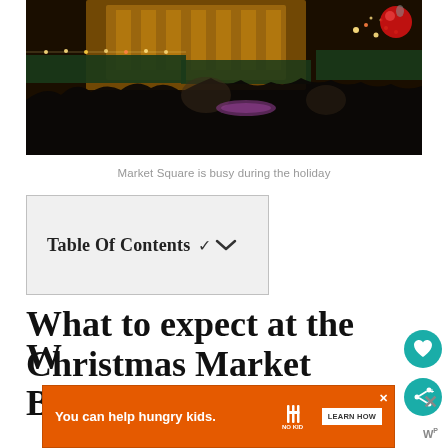[Figure (photo): A crowded Christmas market at Market Square at night, with Gothic-style illuminated building in background, market stalls with twinkling lights, and a large red ornament ball visible on the right side]
Market Square is busy during the holiday
Table Of Contents ✓
What to expect at the Christmas Market
[Figure (infographic): Advertisement banner: 'You can help hungry kids. NO KID HUNGRY LEARN HOW']